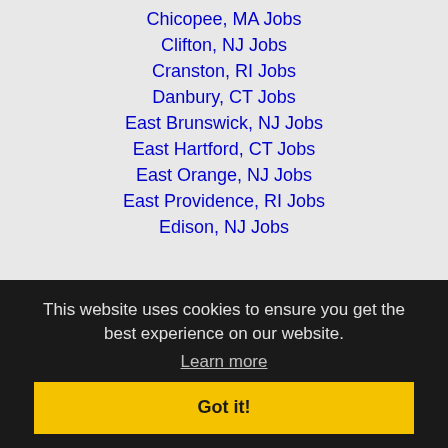Chicopee, MA Jobs
Clifton, NJ Jobs
Cranston, RI Jobs
Danbury, CT Jobs
East Brunswick, NJ Jobs
East Hartford, CT Jobs
East Orange, NJ Jobs
East Providence, RI Jobs
Edison, NJ Jobs
Elizabeth, NJ Jobs
This website uses cookies to ensure you get the best experience on our website.
Learn more
Got it!
Hempstead, NY Jobs
Hicksville, NY Jobs